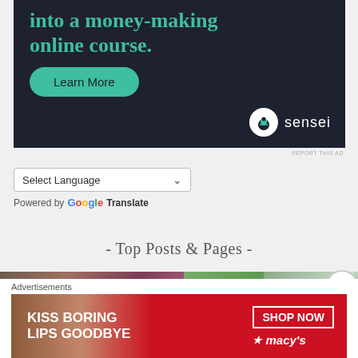[Figure (screenshot): Advertisement for Sensei online course platform showing teal text 'into a money-making online course.' on dark navy background with a teal 'Learn More' button and Sensei logo at bottom right.]
REPORT THIS AD
[Figure (screenshot): Google Translate language selector widget with 'Select Language' dropdown and 'Powered by Google Translate' text.]
- Top Posts & Pages -
[Figure (photo): Strip of three partially visible images: left shows purple/brown food or plant matter, center shows green food/plant, right shows grey-blue textured surface.]
[Figure (screenshot): Macy's advertisement. Text: 'KISS BORING LIPS GOODBYE' with 'SHOP NOW' button and Macy's logo. Red background with woman's face showing red lips.]
Advertisements